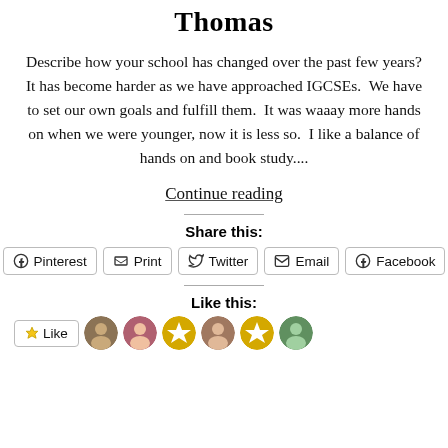Thomas
Describe how your school has changed over the past few years? It has become harder as we have approached IGCSEs.  We have to set our own goals and fulfill them.  It was waaay more hands on when we were younger, now it is less so.  I like a balance of hands on and book study....
Continue reading
Share this:
Pinterest  Print  Twitter  Email  Facebook
Like this:
Like